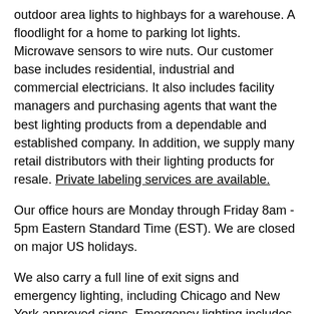outdoor area lights to highbays for a warehouse. A floodlight for a home to parking lot lights. Microwave sensors to wire nuts. Our customer base includes residential, industrial and commercial electricians. It also includes facility managers and purchasing agents that want the best lighting products from a dependable and established company. In addition, we supply many retail distributors with their lighting products for resale. Private labeling services are available.
Our office hours are Monday through Friday 8am - 5pm Eastern Standard Time (EST). We are closed on major US holidays.
We also carry a full line of exit signs and emergency lighting, including Chicago and New York approved signs. Emergency lighting includes two head units to larger industrial size 300 watt tool box units. All of our exit signs and emergency lighting products meet the National Electrical Code, NFPA Life Safety Code and UL924 standards.